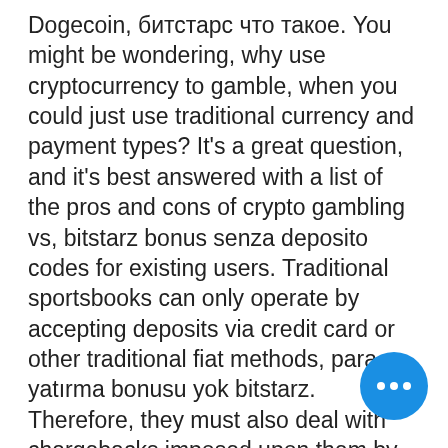Dogecoin, битстарс что такое. You might be wondering, why use cryptocurrency to gamble, when you could just use traditional currency and payment types? It's a great question, and it's best answered with a list of the pros and cons of crypto gambling vs, bitstarz bonus senza deposito codes for existing users. Traditional sportsbooks can only operate by accepting deposits via credit card or other traditional fiat methods, para yatırma bonusu yok bitstarz. Therefore, they must also deal with chargebacks imposed upon them by financial third parties. Currently, Cloudbet only supports deposits in Bitcoin or Bitcoin Cash, bitstarz kein einzahlungsbonus 20 tours gratuits. Cloudbet prides itself on offering better odds than traditional fiat casinos, which has been one of its unique selling points since la... Another niche game type found on Bit... that many other online casinos don't usually